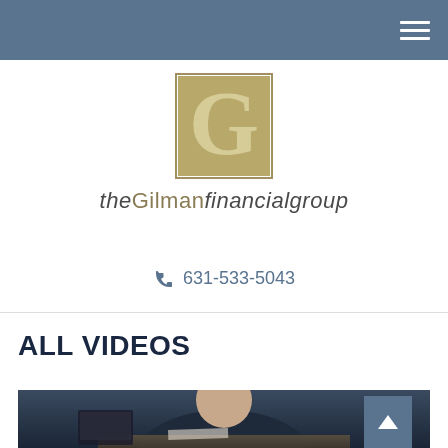Navigation bar with hamburger menu
[Figure (logo): The Gilman Financial Group logo — a stylized capital G in gold/olive color inside a square frame, with the text 'theGilmanfinancialgroup' beneath it]
631-533-5043
ALL VIDEOS
[Figure (photo): A man in a dark suit sitting at a desk with papers and a laptop, viewed from the chest up, appearing to be a financial advisor]